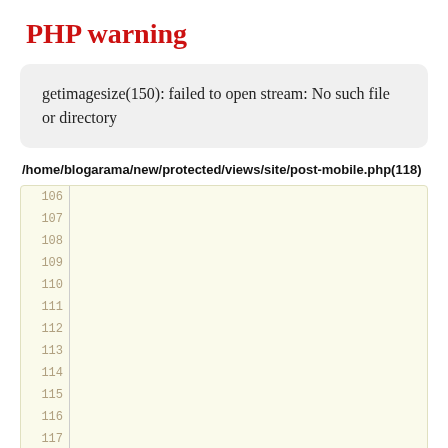PHP warning
getimagesize(150): failed to open stream: No such file or directory
/home/blogarama/new/protected/views/site/post-mobile.php(118)
[Figure (screenshot): Code viewer showing line numbers 106–120 with line 118 highlighted in pink/red background]